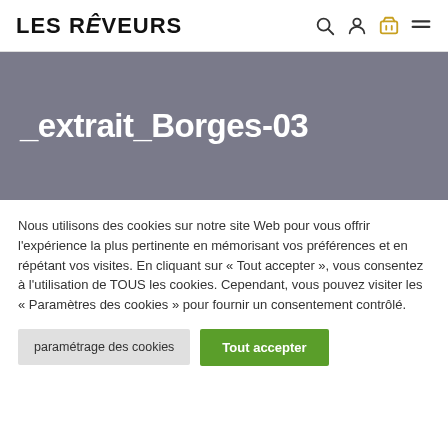Les Rêveurs
_extrait_Borges-03
Nous utilisons des cookies sur notre site Web pour vous offrir l'expérience la plus pertinente en mémorisant vos préférences et en répétant vos visites. En cliquant sur « Tout accepter », vous consentez à l'utilisation de TOUS les cookies. Cependant, vous pouvez visiter les « Paramètres des cookies » pour fournir un consentement contrôlé.
paramétrage des cookies | Tout accepter